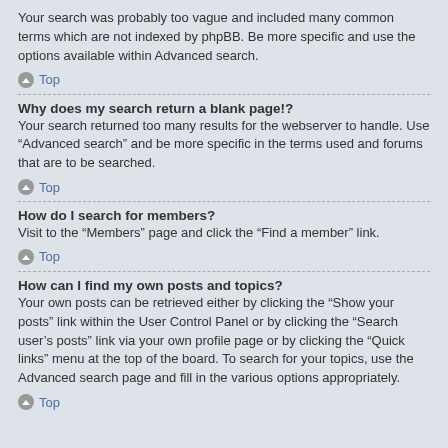Your search was probably too vague and included many common terms which are not indexed by phpBB. Be more specific and use the options available within Advanced search.
Top
Why does my search return a blank page!?
Your search returned too many results for the webserver to handle. Use “Advanced search” and be more specific in the terms used and forums that are to be searched.
Top
How do I search for members?
Visit to the “Members” page and click the “Find a member” link.
Top
How can I find my own posts and topics?
Your own posts can be retrieved either by clicking the “Show your posts” link within the User Control Panel or by clicking the “Search user’s posts” link via your own profile page or by clicking the “Quick links” menu at the top of the board. To search for your topics, use the Advanced search page and fill in the various options appropriately.
Top